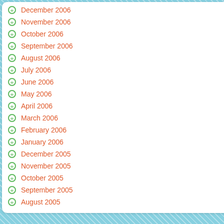December 2006
November 2006
October 2006
September 2006
August 2006
July 2006
June 2006
May 2006
April 2006
March 2006
February 2006
January 2006
December 2005
November 2005
October 2005
September 2005
August 2005